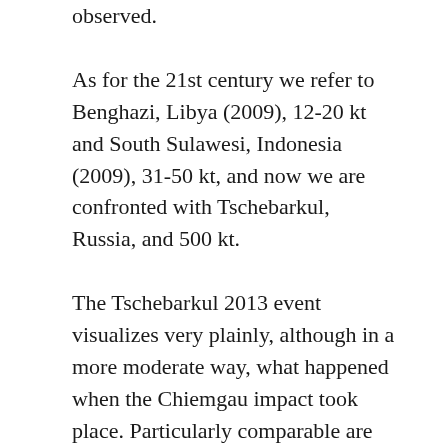observed.
As for the 21st century we refer to Benghazi, Libya (2009), 12-20 kt and South Sulawesi, Indonesia (2009), 31-50 kt, and now we are confronted with Tschebarkul, Russia, and 500 kt.
The Tschebarkul 2013 event visualizes very plainly, although in a more moderate way, what happened when the Chiemgau impact took place. Particularly comparable are the high altitude of fragmentation, the low angle of entry und the trajectory apparently coming out of the sun. This latter statement reminds of the Phaethon myth and thus confirms the detailed